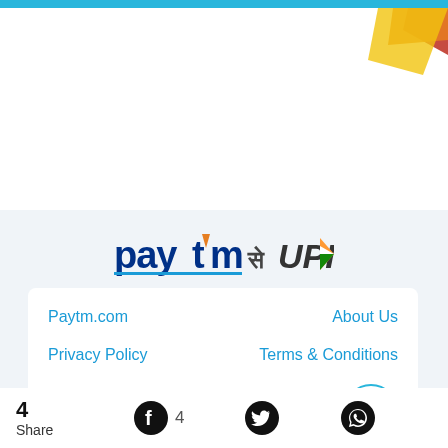[Figure (illustration): Top cyan bar and decorative illustration in top-right corner with orange/yellow/red shapes]
[Figure (logo): Paytm se UPI logo — Paytm wordmark in blue with orange 't' arrow, followed by Hindi text 'से' and UPI logo with tricolor arrow]
Paytm.com
About Us
Privacy Policy
Terms & Conditions
24×7 Help
Paytm Blog Sitemap
4 Share
4